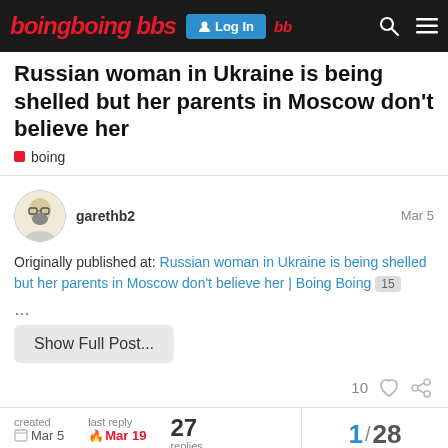Boing Boing BBS — Log In
Russian woman in Ukraine is being shelled but her parents in Moscow don't believe her
boing
garethb2   Mar 5
Originally published at: Russian woman in Ukraine is being shelled but her parents in Moscow don't believe her | Boing Boing  15
...
Show Full Post...
10 ♡ 🔗
created  Mar 5    last reply  Mar 19    27 replies    1 / 28